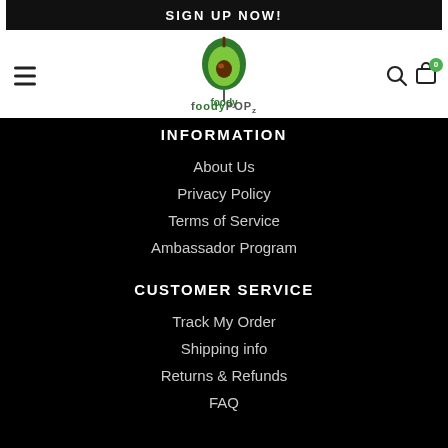SIGN UP NOW!
[Figure (logo): FoodyPOPz avocado logo with hamburger menu, search icon, and cart icon with badge showing 0]
INFORMATION
About Us
Privacy Policy
Terms of Service
Ambassador Program
CUSTOMER SERVICE
Track My Order
Shipping info
Returns & Refunds
FAQ